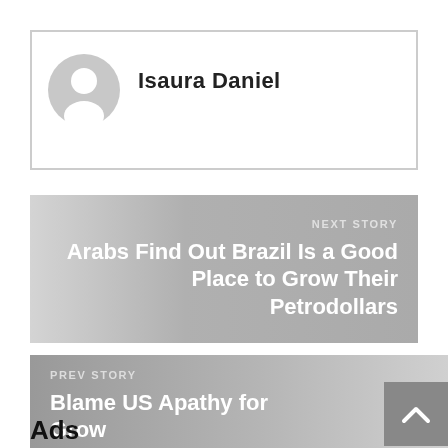[Figure (illustration): Author profile card with avatar icon and name 'Isaura Daniel']
Isaura Daniel
[Figure (illustration): Next story banner with gradient: NEXT STORY / Arabs Find Out Brazil Is a Good Place to Grow Their Petrodollars]
NEXT STORY
Arabs Find Out Brazil Is a Good Place to Grow Their Petrodollars
[Figure (illustration): Prev story banner with gradient: PREV STORY / Blame US Apathy for Growing Latin America]
PREV STORY
Blame US Apathy for Growing Latin America
Ads